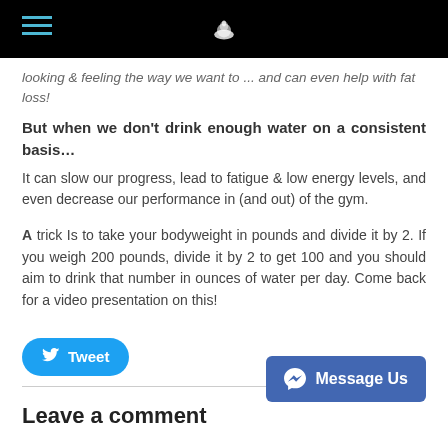[hamburger menu + logo in black top bar]
looking & feeling the way we want to ... and can even help with fat loss!
But when we don't drink enough water on a consistent basis...
It can slow our progress, lead to fatigue & low energy levels, and even decrease our performance in (and out) of the gym.
A trick Is to take your bodyweight in pounds and divide it by 2. If you weigh 200 pounds, divide it by 2 to get 100 and you should aim to drink that number in ounces of water per day. Come back for a video presentation on this!
Tweet
Message Us
Leave a comment